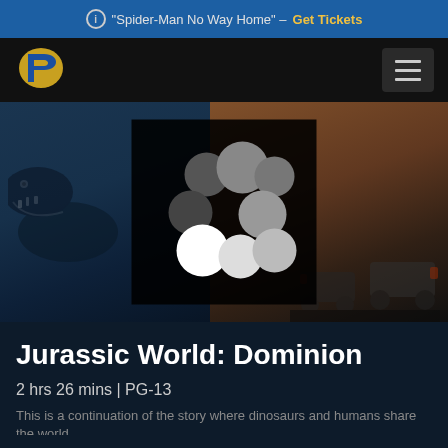"Spider-Man No Way Home" – Get Tickets
[Figure (logo): Premiere Cinemas P logo in blue and gold]
[Figure (photo): Movie banner for Jurassic World: Dominion showing T-Rex on left and action scene on right with a loading spinner overlay in the center]
Jurassic World: Dominion
2 hrs 26 mins | PG-13
This is a placeholder description text visible at the bottom of the page.